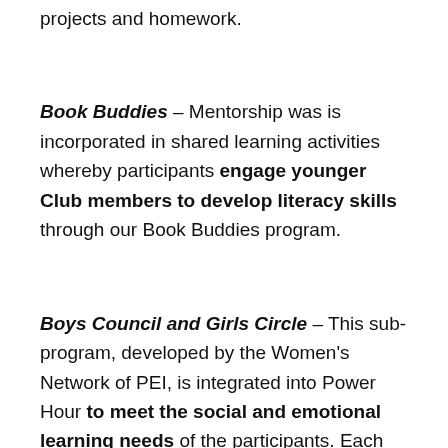projects and homework.
Book Buddies – Mentorship was is incorporated in shared learning activities whereby participants engage younger Club members to develop literacy skills through our Book Buddies program.
Boys Council and Girls Circle – This sub-program, developed by the Women's Network of PEI, is integrated into Power Hour to meet the social and emotional learning needs of the participants. Each group meets once weekly to actively cultivate a safe and supportive space to explore and discuss relevant issues such